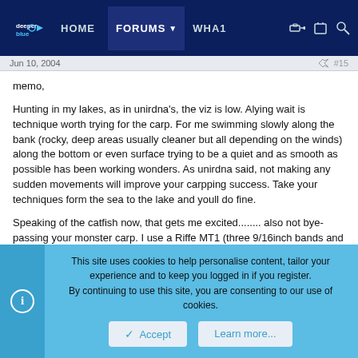deeper blue | HOME | FORUMS | WHAT | [icons]
Jun 10, 2004   #15
memo,

Hunting in my lakes, as in unirdna's, the viz is low. Alying wait is technique worth trying for the carp. For me swimming slowly along the bank (rocky, deep areas usually cleaner but all depending on the winds) along the bottom or even surface trying to be a quiet and as smooth as possible has been working wonders. As unirdna said, not making any sudden movements will improve your carpping success. Take your techniques form the sea to the lake and youll do fine.

Speaking of the catfish now, that gets me excited........ also not bye-passing your monster carp. I use a Riffe MT1 (three 9/16inch bands and a 5/16 hawaiian spear and the gun is 38inches long) which has been
This site uses cookies to help personalise content, tailor your experience and to keep you logged in if you register.
By continuing to use this site, you are consenting to our use of cookies.
Accept  Learn more...